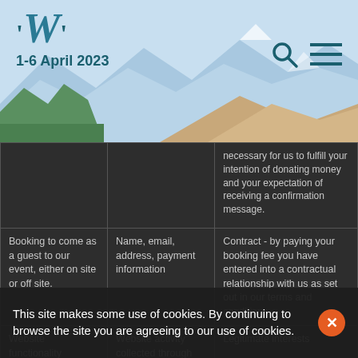[Figure (illustration): Website header with mountain landscape illustration in blues and tans, 'W' logo with quotation marks in teal, date '1-6 April 2023', search icon and hamburger menu icon on the right]
|  |  | necessary for us to fulfill your intention of donating money and your expectation of receiving a confirmation message. |
| Booking to come as a guest to our event, either on site or off site. | Name, email, address, payment information | Contract - by paying your booking fee you have entered into a contractual relationship with us as set out in our terms and conditions. |
| Website functionality | Website activity collected through cookies | Legitimate interests
- it is necessary for us to store a small amount of data, normally through cookies, to deliver functionality that you would expect |
This site makes some use of cookies. By continuing to browse the site you are agreeing to our use of cookies.